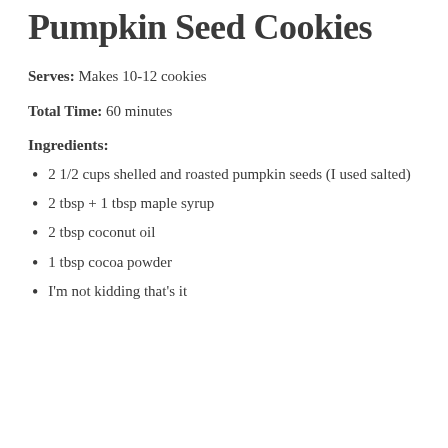Chocolate Dipped Pumpkin Seed Cookies
Serves: Makes 10-12 cookies
Total Time: 60 minutes
Ingredients:
2 1/2 cups shelled and roasted pumpkin seeds (I used salted)
2 tbsp + 1 tbsp maple syrup
2 tbsp coconut oil
1 tbsp cocoa powder
I'm not kidding that's it